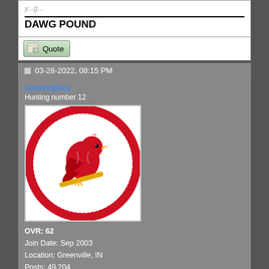DAWG POUND
[Figure (screenshot): Quote button with pencil icon]
03-28-2022, 08:15 PM
countryboy
Hunting number 12
[Figure (logo): St. Louis Cardinals MLB team logo - red cardinal bird on baseball with bat, circular design with CARDINALS text]
OVR: 62
Join Date: Sep 2003
Location: Greenville, IN
Posts: 49,204
Blog Entries: 1
Re: MLB The Show 22 Franchise Discussion Thread
Cardinals drop Spring opener to Astros, 4-2